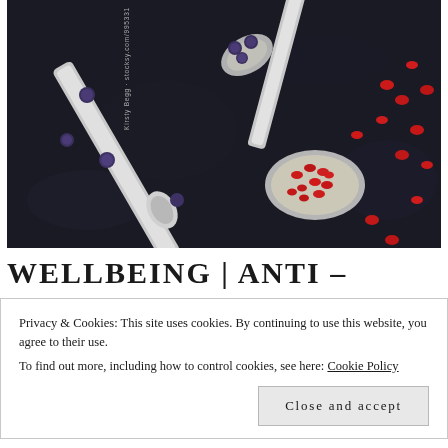[Figure (photo): Dark-background food photo showing two silver ornate spoons — one with blueberries, one with pomegranate seeds — scattered on a dark stone surface. Watermark reads 'Kirsty Begg · stocksy.com/995331'.]
WELLBEING | ANTI –
Privacy & Cookies: This site uses cookies. By continuing to use this website, you agree to their use.
To find out more, including how to control cookies, see here: Cookie Policy
Close and accept